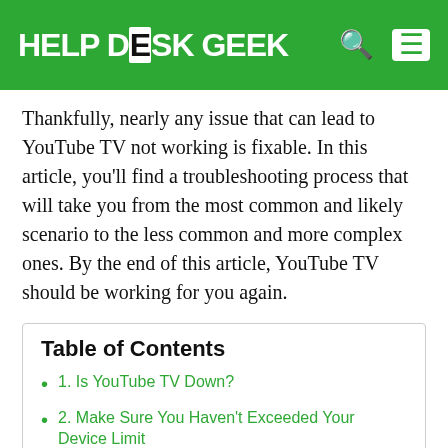HELP DESK GEEK
Thankfully, nearly any issue that can lead to YouTube TV not working is fixable. In this article, you'll find a troubleshooting process that will take you from the most common and likely scenario to the less common and more complex ones. By the end of this article, YouTube TV should be working for you again.
Table of Contents
1. Is YouTube TV Down?
2. Make Sure You Haven't Exceeded Your Device Limit
3. Restart YouTube TV
4. Update the Mobile YouTube TV App
5. Enable Location Permissions